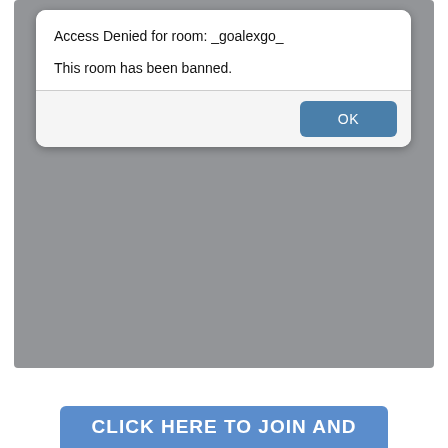[Figure (screenshot): A gray application background with a modal dialog box showing 'Access Denied for room: _goalexgo_' and 'This room has been banned.' with an OK button.]
Access Denied for room: _goalexgo_
This room has been banned.
OK
CLICK HERE TO JOIN AND